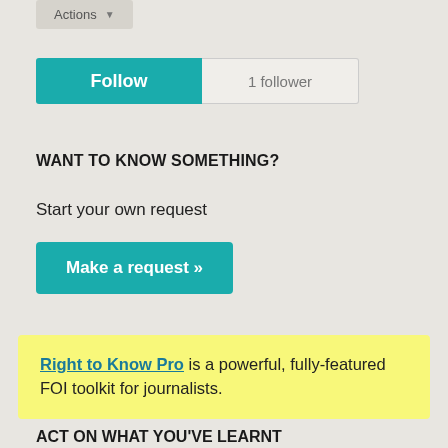[Figure (screenshot): Actions dropdown button (greyed out) at top left]
[Figure (screenshot): Follow button (teal) with '1 follower' count box]
WANT TO KNOW SOMETHING?
Start your own request
[Figure (screenshot): Make a request » button (teal)]
Right to Know Pro is a powerful, fully-featured FOI toolkit for journalists.
ACT ON WHAT YOU'VE LEARNT